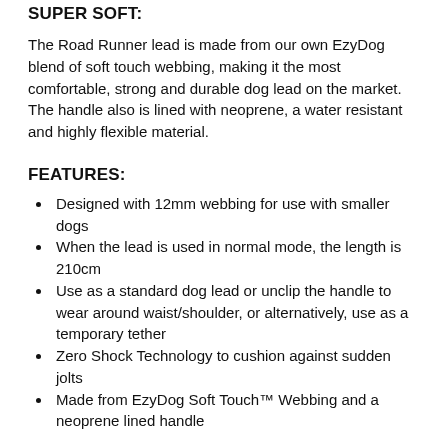SUPER SOFT:
The Road Runner lead is made from our own EzyDog blend of soft touch webbing, making it the most comfortable, strong and durable dog lead on the market. The handle also is lined with neoprene, a water resistant and highly flexible material.
FEATURES:
Designed with 12mm webbing for use with smaller dogs
When the lead is used in normal mode, the length is 210cm
Use as a standard dog lead or unclip the handle to wear around waist/shoulder, or alternatively, use as a temporary tether
Zero Shock Technology to cushion against sudden jolts
Made from EzyDog Soft Touch™ Webbing and a neoprene lined handle